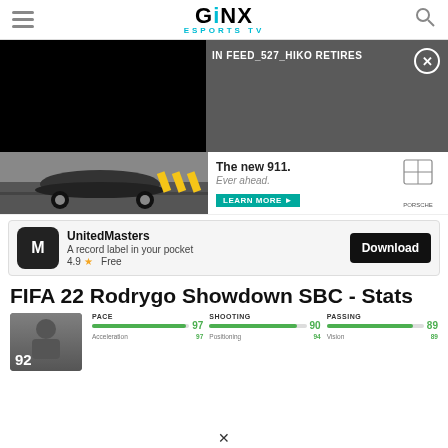GINX ESPORTS TV
[Figure (screenshot): Video ad overlay with black video panel on left and dark grey panel on right showing text: IN FEED_527_HIKO RETIRES with close button]
[Figure (photo): Porsche 911 advertisement showing a car driving on a road with yellow chevron barriers, text: The new 911. Ever ahead. LEARN MORE. Porsche logo.]
[Figure (screenshot): UnitedMasters app advertisement: icon, A record label in your pocket, 4.9 star rating, Free, Download button]
FIFA 22 Rodrygo Showdown SBC - Stats
[Figure (infographic): FIFA 22 player card showing number 92, with stats: PACE 97, SHOOTING 90, PASSING 89. Sub-stats: Acceleration 97, Positioning 94, Vision 89.]